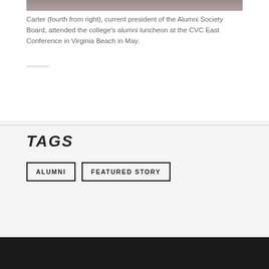[Figure (photo): Partial view of a group photo at the top of the page, cropped]
Carter (fourth from right), current president of the Alumni Society Board, attended the college's alumni luncheon at the CVC East Conference in Virginia Beach in May.
TAGS
ALUMNI
FEATURED STORY